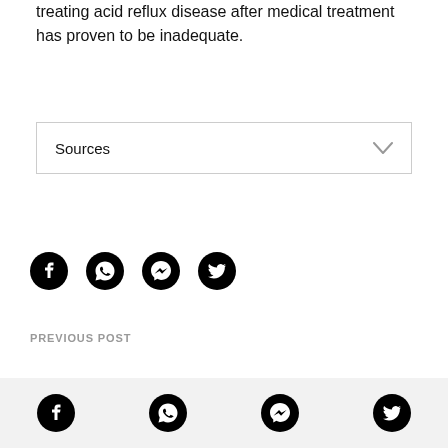treating acid reflux disease after medical treatment has proven to be inadequate.
Sources
[Figure (other): Social share icons: Facebook, WhatsApp, Messenger, Twitter]
PREVIOUS POST
Footer with social share icons: Facebook, WhatsApp, Messenger, Twitter